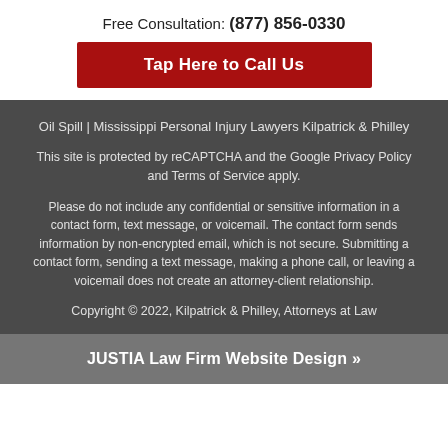Free Consultation: (877) 856-0330
Tap Here to Call Us
Oil Spill | Mississippi Personal Injury Lawyers Kilpatrick & Philley
This site is protected by reCAPTCHA and the Google Privacy Policy and Terms of Service apply.
Please do not include any confidential or sensitive information in a contact form, text message, or voicemail. The contact form sends information by non-encrypted email, which is not secure. Submitting a contact form, sending a text message, making a phone call, or leaving a voicemail does not create an attorney-client relationship.
Copyright © 2022, Kilpatrick & Philley, Attorneys at Law
JUSTIA Law Firm Website Design »